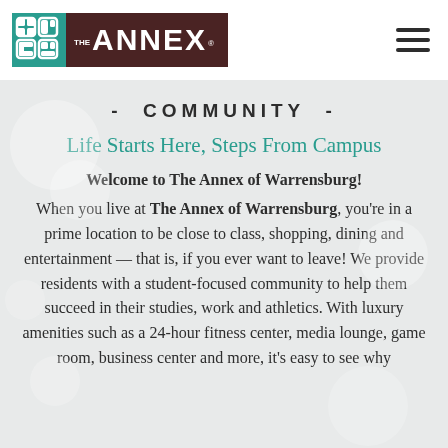[Figure (logo): The Annex logo — teal grid icon on left, dark brown rectangle with 'THE ANNEX' text on right]
- COMMUNITY -
Life Starts Here, Steps From Campus
Welcome to The Annex of Warrensburg!
When you live at The Annex of Warrensburg, you're in a prime location to be close to class, shopping, dining and entertainment — that is, if you ever want to leave! We provide residents with a student-focused community to help them succeed in their studies, work and athletics. With luxury amenities such as a 24-hour fitness center, media lounge, game room, business center and more, it's easy to see why